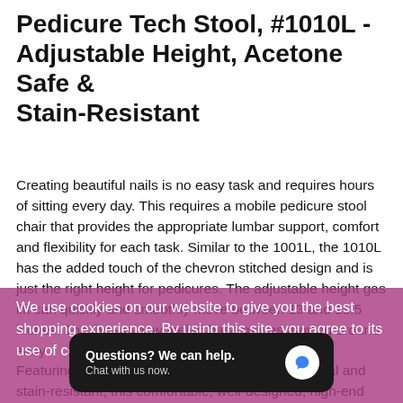Pedicure Tech Stool, #1010L - Adjustable Height, Acetone Safe & Stain-Resistant
Creating beautiful nails is no easy task and requires hours of sitting every day. This requires a mobile pedicure stool chair that provides the appropriate lumbar support, comfort and flexibility for each task. Similar to the 1001L, the 1010L has the added touch of the chevron stitched design and is just the right height for pedicures. The adjustable height gas lift can quickly and smoothly move between 13 and 15.5 inches. The five-point wheeled base makes moving around easy. Featuring top-quality Enduro leather that is chemical and stain-resistant, this comfortable, well-designed, high-end pedicure technician chair is available in a hundred perfect colors to match y...
We use cookies on our website to give you the best shopping experience. By using this site, you agree to its use of cookies.
Questions? We can help. Chat with us now.